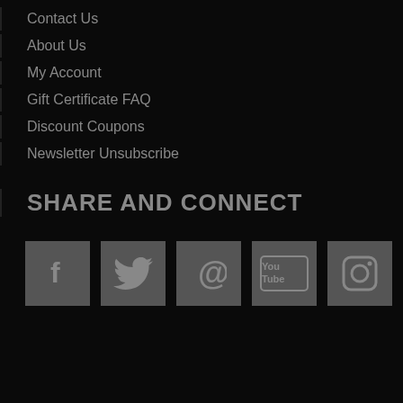Contact Us
About Us
My Account
Gift Certificate FAQ
Discount Coupons
Newsletter Unsubscribe
SHARE AND CONNECT
[Figure (illustration): Five social media icon buttons in gray squares: Facebook (f), Twitter (bird), Pinterest (P), YouTube (You Tube), Instagram (camera)]